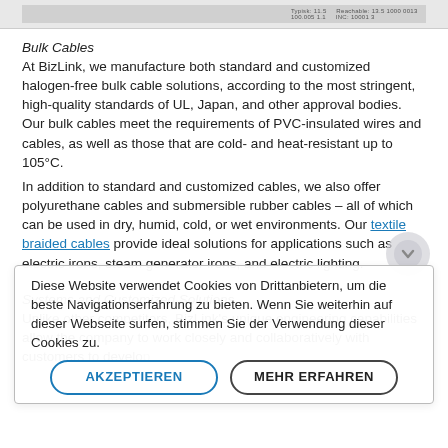[Figure (screenshot): Top partial screenshot of a product/spec header area with small text labels]
Bulk Cables
At BizLink, we manufacture both standard and customized halogen-free bulk cable solutions, according to the most stringent, high-quality standards of UL, Japan, and other approval bodies. Our bulk cables meet the requirements of PVC-insulated wires and cables, as well as those that are cold- and heat-resistant up to 105°C.
In addition to standard and customized cables, we also offer polyurethane cables and submersible rubber cables – all of which can be used in dry, humid, cold, or wet environments. Our textile braided cables provide ideal solutions for applications such as electric irons, steam generator irons, and electric lighting.
Systems and Customized Solutions
Unlike other competitors, BizLink's unique engineering capabilities allow the company to work closely and collaboratively with customers to develop
Diese Website verwendet Cookies von Drittanbietern, um die beste Navigationserfahrung zu bieten. Wenn Sie weiterhin auf dieser Webseite surfen, stimmen Sie der Verwendung dieser Cookies zu.
AKZEPTIEREN   MEHR ERFAHREN